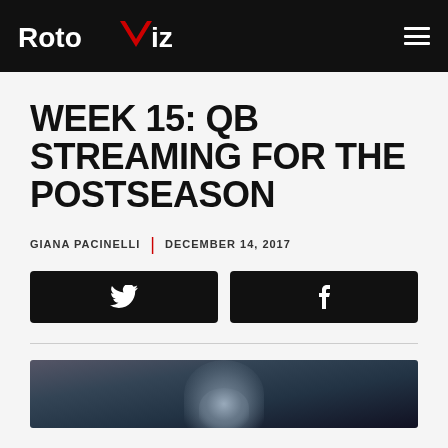RotoViz
WEEK 15: QB STREAMING FOR THE POSTSEASON
GIANA PACINELLI | DECEMBER 14, 2017
[Figure (illustration): Twitter share button (black rounded rectangle with white Twitter bird icon)]
[Figure (illustration): Facebook share button (black rounded rectangle with white Facebook 'f' icon)]
[Figure (photo): Partially visible photo of a football player wearing a helmet, dark blurred background with crowd]